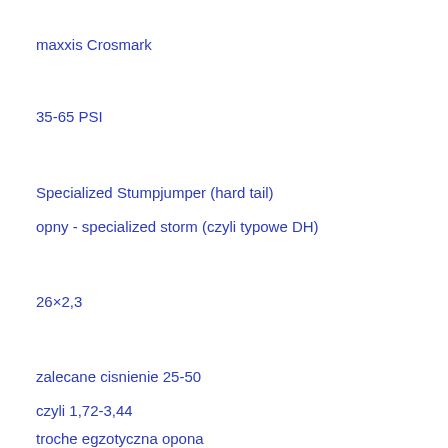maxxis Crosmark
35-65 PSI
Specialized Stumpjumper (hard tail)
opny - specialized storm (czyli typowe DH)
26×2,3
zalecane cisnienie  25-50
czyli  1,72-3,44
troche egzotyczna opona